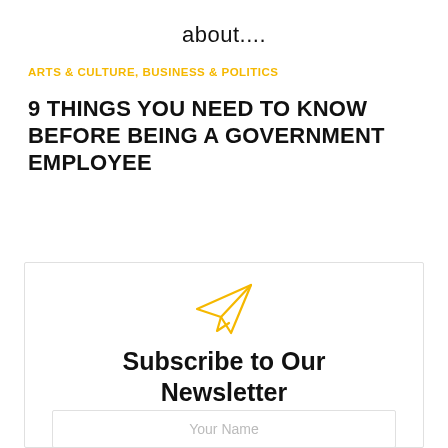about....
ARTS & CULTURE, BUSINESS & POLITICS
9 THINGS YOU NEED TO KNOW BEFORE BEING A GOVERNMENT EMPLOYEE
[Figure (illustration): Paper plane icon in golden/yellow outline style]
Subscribe to Our Newsletter
Your Name